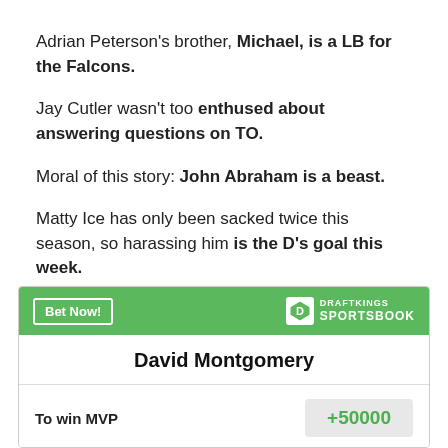Adrian Peterson's brother, Michael, is a LB for the Falcons.
Jay Cutler wasn't too enthused about answering questions on TO.
Moral of this story: John Abraham is a beast.
Matty Ice has only been sacked twice this season, so harassing him is the D's goal this week.
[Figure (other): DraftKings Sportsbook betting widget showing David Montgomery with odds +50000 to win MVP]